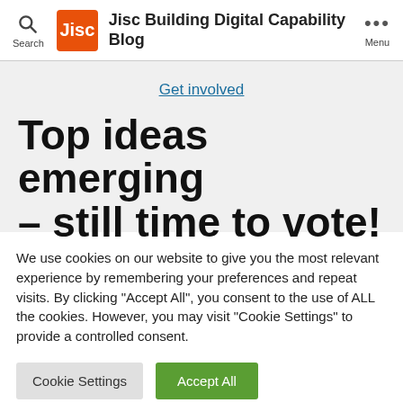Jisc Building Digital Capability Blog
Get involved
Top ideas emerging – still time to vote!
We use cookies on our website to give you the most relevant experience by remembering your preferences and repeat visits. By clicking "Accept All", you consent to the use of ALL the cookies. However, you may visit "Cookie Settings" to provide a controlled consent.
Cookie Settings | Accept All